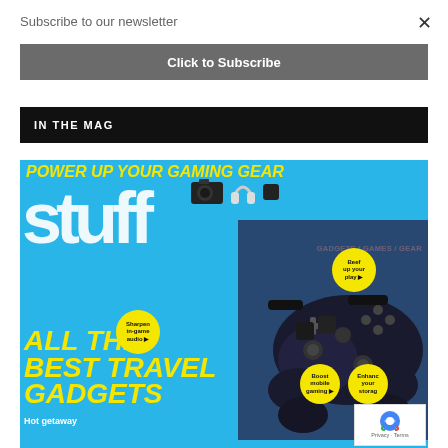Subscribe to our newsletter
×
Click to Subscribe
IN THE MAG
[Figure (photo): Magazine cover of 'Stuff' magazine featuring the headline 'POWER UP YOUR GAMING GEAR' in yellow italic text at the top, the Stuff logo in white, a gaming controller, camera, earbuds, and other gadgets. Sub-headlines read 'ALL THE BEST TRAVEL GADGETS' and 'Hot getaway'. Yellow circle badges read 'Beef up your play', 'Sharpen in-game audio', 'Boost mobile gaming', 'Enhance your storage'. GADGETS / GAMES / GEAR label visible.]